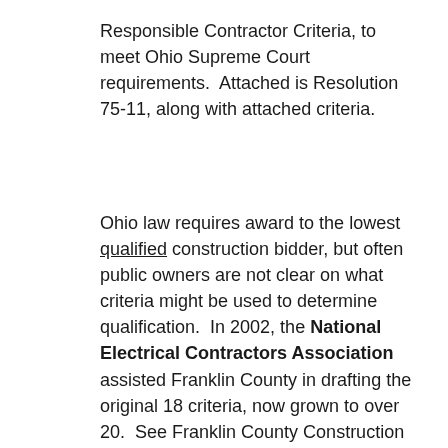Responsible Contractor Criteria, to meet Ohio Supreme Court requirements.  Attached is Resolution 75-11, along with attached criteria.
Ohio law requires award to the lowest qualified construction bidder, but often public owners are not clear on what criteria might be used to determine qualification.  In 2002, the National Electrical Contractors Association assisted Franklin County in drafting the original 18 criteria, now grown to over 20.  See Franklin County Construction Documents, p. 14 et seq., attached.